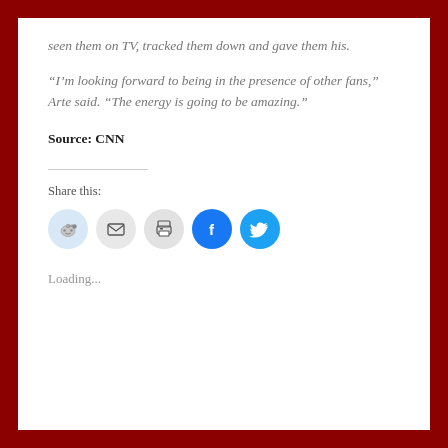seen them on TV, tracked them down and gave them his.
“I’m looking forward to being in the presence of other fans,” Arte said. “The energy is going to be amazing.”
Source: CNN
Share this:
[Figure (infographic): Social share buttons: Reddit, Email, Print, Facebook, Twitter]
Loading...